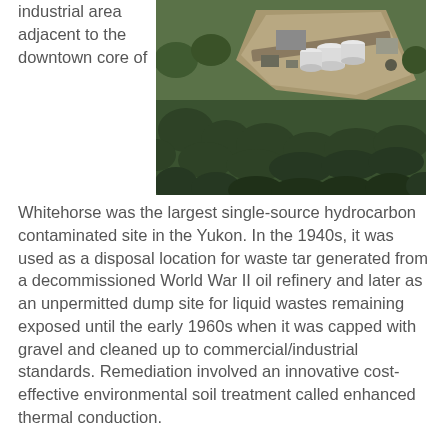industrial area adjacent to the downtown core of
[Figure (photo): Aerial photograph of an industrial remediation site surrounded by dense forest, showing equipment, structures, and cleared ground with white cylindrical tanks visible.]
Whitehorse was the largest single-source hydrocarbon contaminated site in the Yukon. In the 1940s, it was used as a disposal location for waste tar generated from a decommissioned World War II oil refinery and later as an unpermitted dump site for liquid wastes remaining exposed until the early 1960s when it was capped with gravel and cleaned up to commercial/industrial standards. Remediation involved an innovative cost-effective environmental soil treatment called enhanced thermal conduction.
REINVEST: Financing, Risk Management and Partnerships